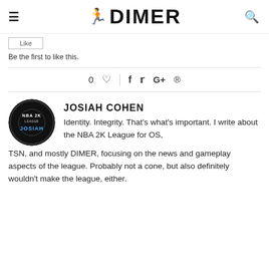≡ DIMER 🔍
Be the first to like this.
0 ♡  |  f  t  G+  ®
[Figure (photo): Circular avatar image with NBA 2K League logo and text 'JOSIAH']
JOSIAH COHEN
Identity. Integrity. That's what's important. I write about the NBA 2K League for OS, TSN, and mostly DIMER, focusing on the news and gameplay aspects of the league. Probably not a cone, but also definitely wouldn't make the league, either.